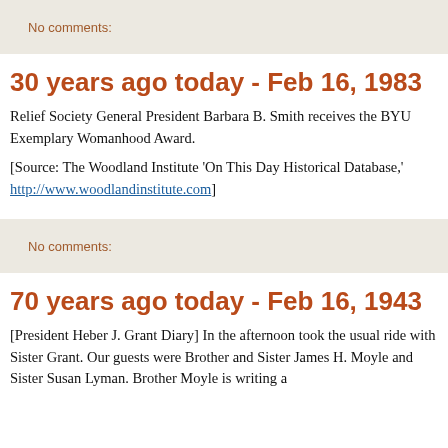No comments:
30 years ago today - Feb 16, 1983
Relief Society General President Barbara B. Smith receives the BYU Exemplary Womanhood Award.
[Source: The Woodland Institute 'On This Day Historical Database,' http://www.woodlandinstitute.com]
No comments:
70 years ago today - Feb 16, 1943
[President Heber J. Grant Diary] In the afternoon took the usual ride with Sister Grant. Our guests were Brother and Sister James H. Moyle and Sister Susan Lyman. Brother Moyle is writing a